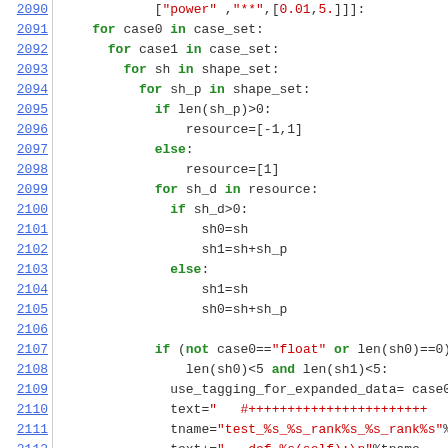[Figure (screenshot): Python source code snippet showing nested for loops and conditional statements, lines 2090-2112, with syntax highlighting. Line numbers in blue on left, keywords in green bold, strings and comments in red.]